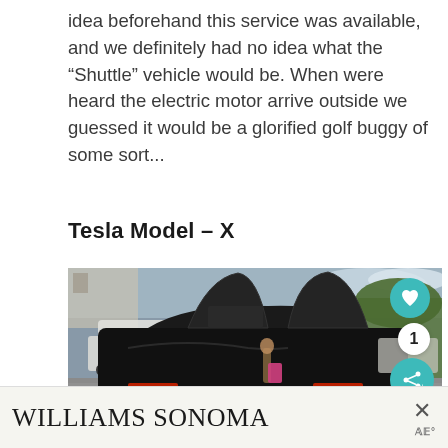idea beforehand this service was available, and we definitely had no idea what the “Shuttle” vehicle would be. When were heard the electric motor arrive outside we guessed it would be a glorified golf buggy of some sort...
Tesla Model – X
[Figure (photo): Rear view of a black Tesla Model X with falcon wing doors open, parked in a outdoor lot with trees, sky and other vehicles visible in the background. A heart/like button and share button overlay on the right side.]
WILLIAMS SONOMA